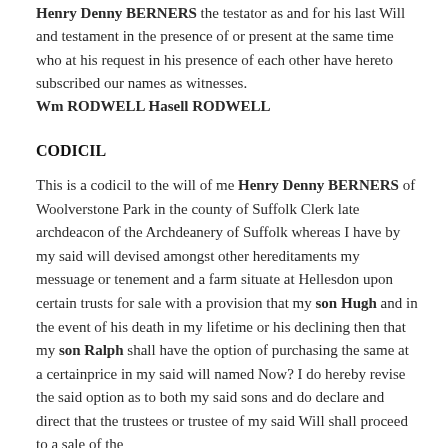Henry Denny BERNERS the testator as and for his last Will and testament in the presence of or present at the same time who at his request in his presence of each other have hereto subscribed our names as witnesses. Wm RODWELL Hasell RODWELL
CODICIL
This is a codicil to the will of me Henry Denny BERNERS of Woolverstone Park in the county of Suffolk Clerk late archdeacon of the Archdeanery of Suffolk whereas I have by my said will devised amongst other hereditaments my messuage or tenement and a farm situate at Hellesdon upon certain trusts for sale with a provision that my son Hugh and in the event of his death in my lifetime or his declining then that my son Ralph shall have the option of purchasing the same at a certainprice in my said will named Now? I do hereby revise the said option as to both my said sons and do declare and direct that the trustees or trustee of my said Will shall proceed to a sale of the